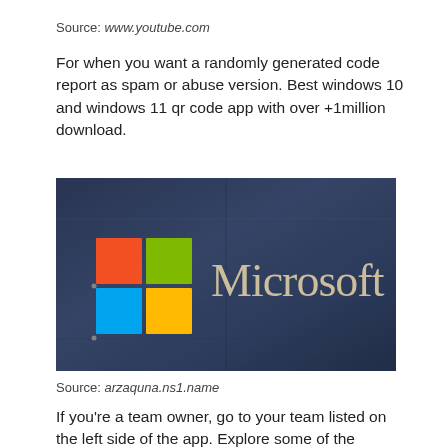Source: www.youtube.com
For when you want a randomly generated code report as spam or abuse version. Best windows 10 and windows 11 qr code app with over +1million download.
[Figure (logo): Microsoft logo on a dark textured metallic blue-grey background, showing the four-colored Windows flag icon (red, green, blue, yellow squares) and the word 'Microsoft' in large beige/tan serif-style letters.]
Source: arzaquna.ns1.name
If you're a team owner, go to your team listed on the left side of the app. Explore some of the lessons, tutorials and curriculum available with